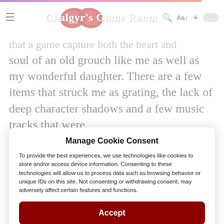Chalgyr's Game Room
...that a game capture both the heart and soul of an old grouch like me as well as my wonderful daughter. There are a few items that struck me as grating, the lack of deep character shadows and a few music tracks that were
Manage Cookie Consent
To provide the best experiences, we use technologies like cookies to store and/or access device information. Consenting to these technologies will allow us to process data such as browsing behavior or unique IDs on this site. Not consenting or withdrawing consent, may adversely affect certain features and functions.
Accept
Cookie Policy   Privacy Statement